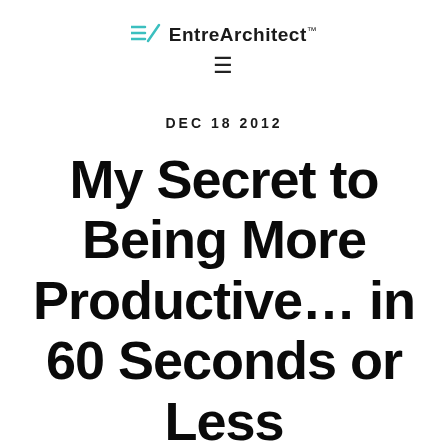EntreArchitect™
DEC 18 2012
My Secret to Being More Productive… in 60 Seconds or Less